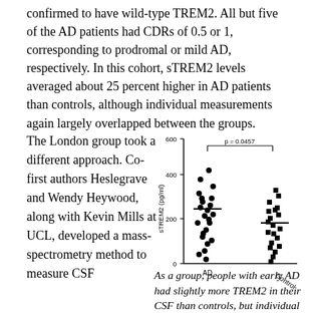confirmed to have wild-type TREM2. All but five of the AD patients had CDRs of 0.5 or 1, corresponding to prodromal or mild AD, respectively. In this cohort, sTREM2 levels averaged about 25 percent higher in AD patients than controls, although individual measurements again largely overlapped between the groups.
The London group took a different approach. Co-first authors Heslegrave and Wendy Heywood, along with Kevin Mills at UCL, developed a mass-spectrometry method to measure CSF
[Figure (continuous-plot): Scatter plot showing sTREM2 (pg/ml) levels on y-axis (0 to 600) for two groups: AD and Control. AD group shows filled circles scattered mostly between 100-480 pg/ml with a horizontal median line near 240. Control group shows filled squares scattered mostly between 100-340 pg/ml with a median line near 200. A bracket above both groups is labeled p = 0.0457.]
As a group, people with early AD had slightly more TREM2 in their CSF than controls, but individual